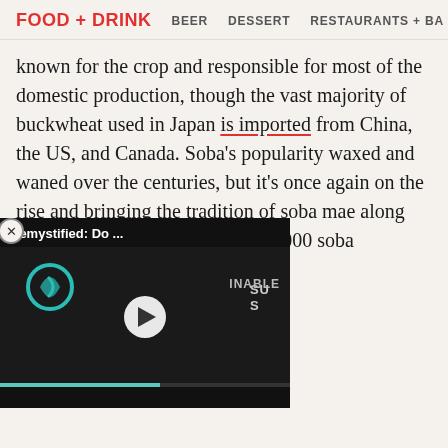FOOD + DRINK   BEER   DESSERT   RESTAURANTS + BA
known for the crop and responsible for most of the domestic production, though the vast majority of buckwheat used in Japan is imported from China, the US, and Canada. Soba’s popularity waxed and waned over the centuries, but it’s once again on the rise and bringing the tradition of soba mae along with it. Today, there are some 24,000 soba [shops] … according to Discover Japan.
[Figure (screenshot): Video overlay showing 'Demystified: Do ...' with a play button, sustainable logo thumbnail, and a teal progress bar on a dark background. Close button (X in circle) visible at the left.]
ae options varies. There are onal kamaboko snacks served alongside sake. Relatively modern drinks have fallen into the fold of soba-mae, as well, such as the whisky highball. During a virtual soba making class with cookbook author and instructor Sonoko